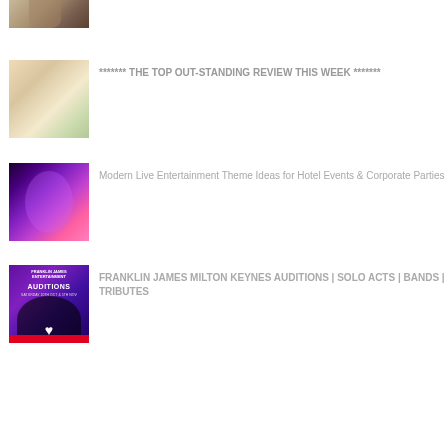[Figure (photo): Partial view of a man at the top of the page, cropped]
******* THE TOP OUT-STANDING REVIEW THIS WEEK *******
Modern Live Entertainment Theme Ideas for Hotel Events & Corporate Parties
FRANKLIN JAMES MILTON KEYNES AUDITIONS | SOLO ACTS | BANDS | TRIBUTES